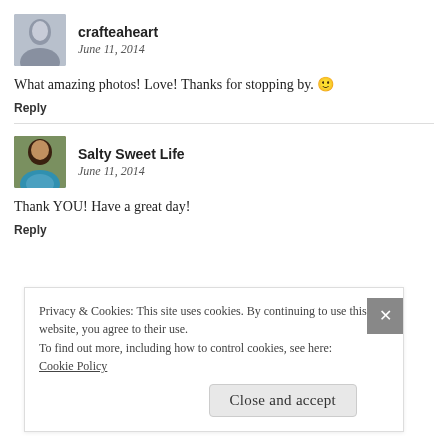[Figure (photo): Avatar of commenter crafteaheart, a woman with purple-grey toned photo]
crafteaheart
June 11, 2014
What amazing photos! Love! Thanks for stopping by. 🙂
Reply
[Figure (photo): Avatar of commenter Salty Sweet Life, a smiling woman]
Salty Sweet Life
June 11, 2014
Thank YOU! Have a great day!
Reply
Privacy & Cookies: This site uses cookies. By continuing to use this website, you agree to their use.
To find out more, including how to control cookies, see here: Cookie Policy
Close and accept